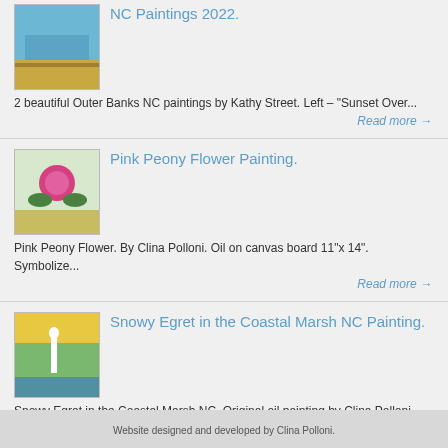[Figure (illustration): Thumbnail image of Outer Banks NC paintings by Kathy Street]
NC Paintings 2022.
2 beautiful Outer Banks NC paintings by Kathy Street. Left – "Sunset Over...
Read more →
[Figure (illustration): Thumbnail image of Pink Peony Flower Painting by Clina Polloni]
Pink Peony Flower Painting.
Pink Peony Flower. By Clina Polloni. Oil on canvas board 11"x 14". Symbolize...
Read more →
[Figure (illustration): Thumbnail image of Snowy Egret in the Coastal Marsh NC Painting by Clina Polloni]
Snowy Egret in the Coastal Marsh NC Painting.
Snowy Egret in the Coastal Marsh NC. Original oil painting by Clina Polloni....
Read more →
Website designed and developed by Clina Polloni.